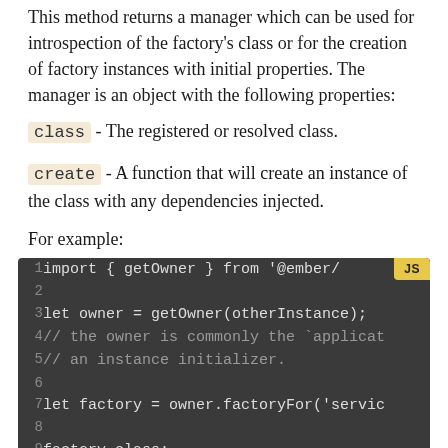This method returns a manager which can be used for introspection of the factory's class or for the creation of factory instances with initial properties. The manager is an object with the following properties:
class - The registered or resolved class.
create - A function that will create an instance of the class with any dependencies injected.
For example:
[Figure (screenshot): Code block showing JavaScript code with dark background, line numbers 1-9 visible, with JS badge. Code includes: import { getOwner } from '@ember/..., let owner = getOwner(otherInstance);, // the owner is commonly the `applicat..., // an instance initializer., let factory = owner.factoryFor('servic..., factory.class;]